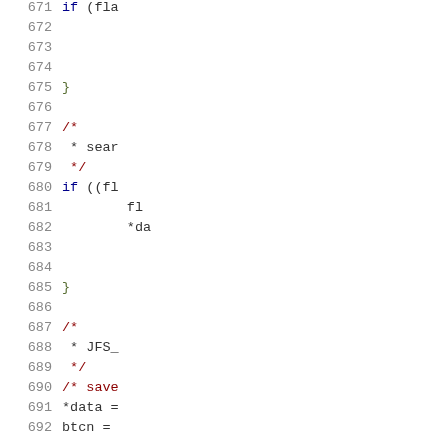Source code listing, lines 671-692, showing C code with line numbers, comments, if statements, and variable assignments.